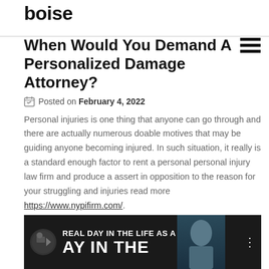boise
When Would You Demand A Personalized Damage Attorney?
Posted on February 4, 2022
Personal injuries is one thing that anyone can go through and there are actually numerous doable motives that may be guiding anyone becoming injured. In such situation, it really is a standard enough factor to rent a personal personal injury law firm and produce a assert in opposition to the reason for your struggling and injuries read more https://www.nypifirm.com/.
[Figure (screenshot): Video thumbnail showing 'REAL DAY IN THE LIFE AS A ...' with 'AY IN THE' large text overlay and a person visible, dark background]